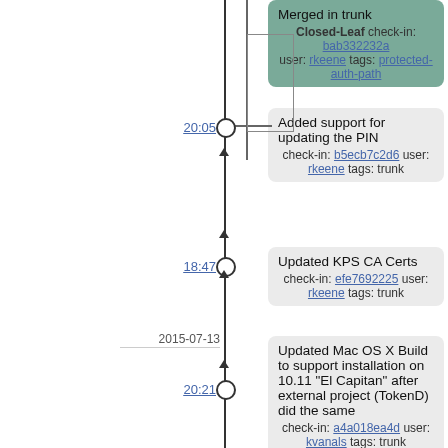Merged in trunk - Closed-Leaf check-in: bab332232a user: rkeene tags: protected-auth-path
20:05
Added support for updating the PIN check-in: b5ecb7c2d6 user: rkeene tags: trunk
18:47
Updated KPS CA Certs check-in: efe7692225 user: rkeene tags: trunk
2015-07-13
20:21
Updated Mac OS X Build to support installation on 10.11 "El Capitan" after external project (TokenD) did the same check-in: a4a018ea4d user: kvanals tags: trunk
2015-07-03
01:57
CACKey 0.7.3 check-in: 9c86f3a63d user: kvanals tags: trunk, 0.7.3
01:56
Updated OS X build script to reflect compatibility with newer releases of the OS...